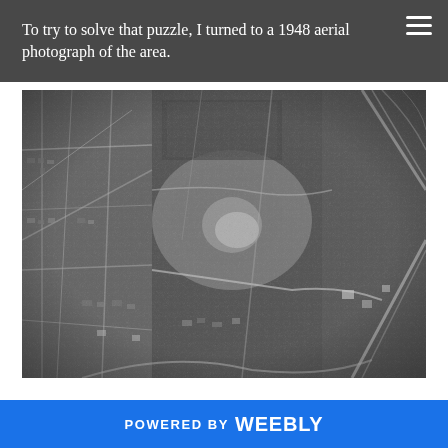To try to solve that puzzle, I turned to a 1948 aerial photograph of the area.
[Figure (photo): Black and white aerial photograph from 1948 showing an urban area with streets, neighborhoods, open land, and a park or quarry area in the center.]
POWERED BY Weebly